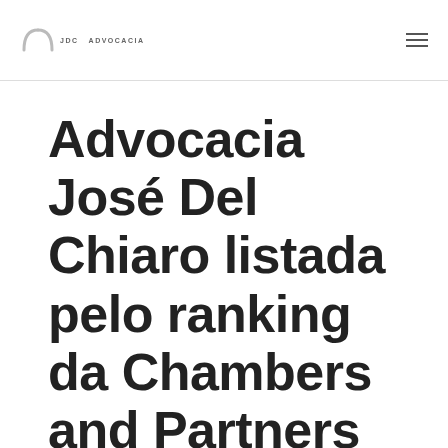JDC Advocacia — navigation header with logo and hamburger menu
Advocacia José Del Chiaro listada pelo ranking da Chambers and Partners como um dos melhores escritórios do